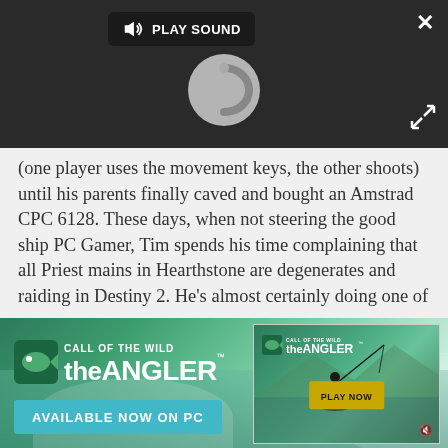[Figure (screenshot): Dark video player UI with 'PLAY SOUND' button, loading spinner circle, close X button, and expand icon]
(one player uses the movement keys, the other shoots) until his parents finally caved and bought an Amstrad CPC 6128. These days, when not steering the good ship PC Gamer, Tim spends his time complaining that all Priest mains in Hearthstone are degenerates and raiding in Destiny 2. He's almost certainly doing one of the...
[Figure (screenshot): Advertisement banner for 'Call of the Wild: The Angler' game. Shows outdoor fishing scene with lake and trees. Logo on left, 'AVAILABLE NOW ON PC' text on teal button, and smaller ad panel on right with 'PLAY NOW' button.]